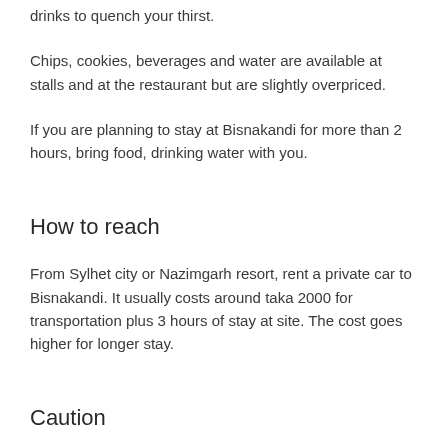drinks to quench your thirst.
Chips, cookies, beverages and water are available at stalls and at the restaurant but are slightly overpriced.
If you are planning to stay at Bisnakandi for more than 2 hours, bring food, drinking water with you.
How to reach
From Sylhet city or Nazimgarh resort, rent a private car to Bisnakandi. It usually costs around taka 2000 for transportation plus 3 hours of stay at site. The cost goes higher for longer stay.
Caution